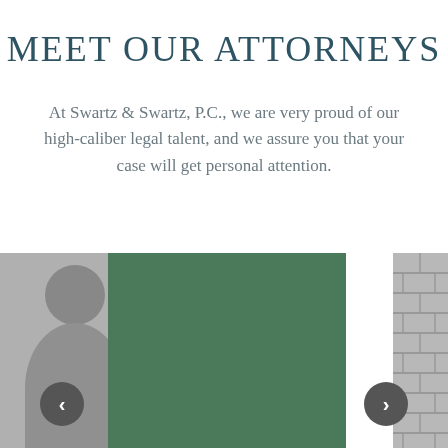MEET OUR ATTORNEYS
At Swartz & Swartz, P.C., we are very proud of our high-caliber legal talent, and we assure you that your case will get personal attention.
[Figure (photo): A carousel of attorney photos. The center slot shows a green placeholder card. The left edge shows a partial grayscale photo of a person. The right edge shows a partial grayscale photo of a brick wall. Navigation arrows (left and right) are visible at the bottom corners.]